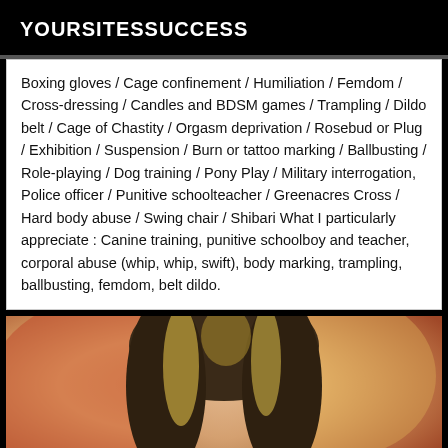YOURSITESSUCCESS
Boxing gloves / Cage confinement / Humiliation / Femdom / Cross-dressing / Candles and BDSM games / Trampling / Dildo belt / Cage of Chastity / Orgasm deprivation / Rosebud or Plug / Exhibition / Suspension / Burn or tattoo marking / Ballbusting / Role-playing / Dog training / Pony Play / Military interrogation, Police officer / Punitive schoolteacher / Greenacres Cross / Hard body abuse / Swing chair / Shibari What I particularly appreciate : Canine training, punitive schoolboy and teacher, corporal abuse (whip, whip, swift), body marking, trampling, ballbusting, femdom, belt dildo.
[Figure (photo): Close-up photo of a woman with blonde highlighted hair against a warm reddish-orange background]